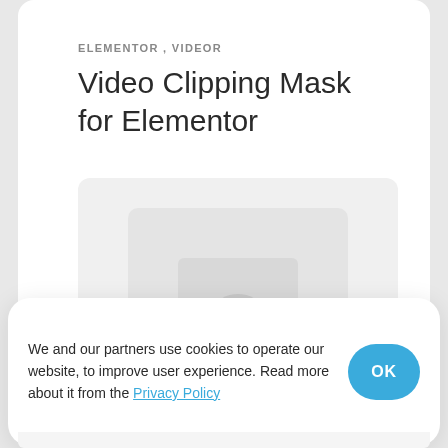ELEMENTOR , VIDEOR
Video Clipping Mask for Elementor
[Figure (screenshot): Screenshot placeholder showing a nested card/browser UI mockup with light gray boxes representing a web page interface]
We and our partners use cookies to operate our website, to improve user experience. Read more about it from the Privacy Policy